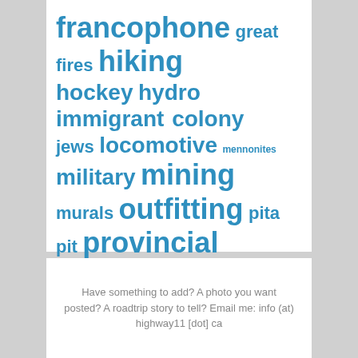[Figure (other): Tag cloud with tourism and regional interest keywords in varying font sizes, all in blue. Terms include: francophone, great fires, hiking, hockey, hydro, immigrant colony, jews, locomotive, mennonites, military, mining, murals, outfitting, pita pit, provincial parks, pulp and paper, railway, streetcars, the suburbs, touristy stuff, waterfront, woodpile]
Have something to add? A photo you want posted? A roadtrip story to tell? Email me: info (at) highway11 [dot] ca